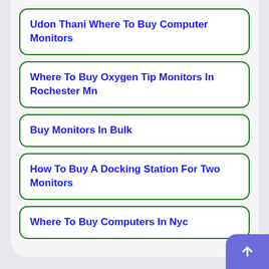Udon Thani Where To Buy Computer Monitors
Where To Buy Oxygen Tip Monitors In Rochester Mn
Buy Monitors In Bulk
How To Buy A Docking Station For Two Monitors
Where To Buy Computers In Nyc